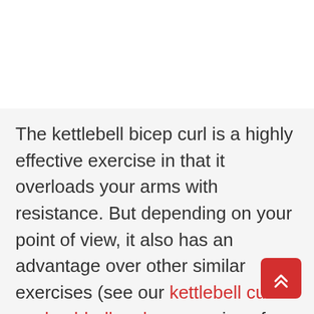[Figure (photo): White image area at the top of the page (photograph placeholder)]
The kettlebell bicep curl is a highly effective exercise in that it overloads your arms with resistance. But depending on your point of view, it also has an advantage over other similar exercises (see our kettlebell curls vs dumbbell curls comparison for more info).